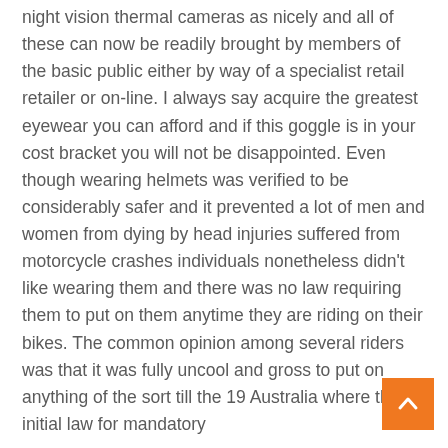night vision thermal cameras as nicely and all of these can now be readily brought by members of the basic public either by way of a specialist retail retailer or on-line. I always say acquire the greatest eyewear you can afford and if this goggle is in your cost bracket you will not be disappointed. Even though wearing helmets was verified to be considerably safer and it prevented a lot of men and women from dying by head injuries suffered from motorcycle crashes individuals nonetheless didn't like wearing them and there was no law requiring them to put on them anytime they are riding on their bikes. The common opinion among several riders was that it was fully uncool and gross to put on anything of the sort till the 19 Australia where the initial law for mandatory